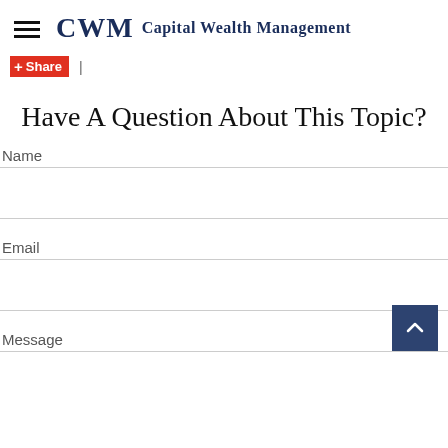CWM Capital Wealth Management
+ Share |
Have A Question About This Topic?
Name
Email
Message